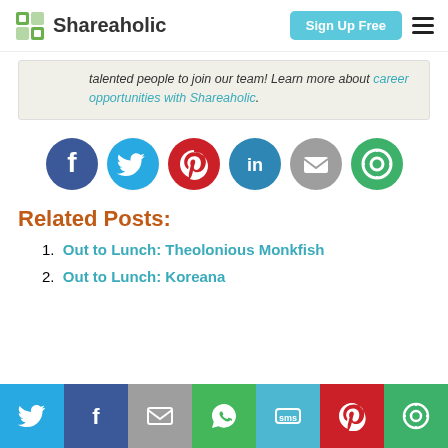Shareaholic | Sign Up Free
talented people to join our team! Learn more about career opportunities with Shareaholic.
[Figure (infographic): Row of six social sharing icons: Facebook (dark blue circle with F), Twitter (light blue circle with bird), Pinterest (red circle with P), LinkedIn (teal circle with in), Email (gray circle with envelope), Shareaholic (green circle with S icon)]
Related Posts:
Out to Lunch: Theolonious Monkfish
Out to Lunch: Koreana
[Figure (infographic): Bottom sharing toolbar with seven buttons: Twitter (light blue), Facebook (dark blue), Email (gray), WhatsApp (green), SMS (teal), Pinterest (red), Shareaholic (green)]